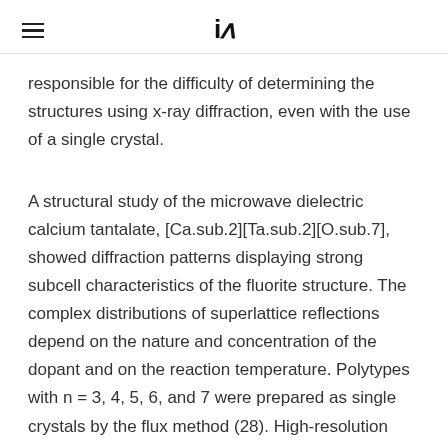iA
responsible for the difficulty of determining the structures using x-ray diffraction, even with the use of a single crystal.
A structural study of the microwave dielectric calcium tantalate, [Ca.sub.2][Ta.sub.2][O.sub.7], showed diffraction patterns displaying strong subcell characteristics of the fluorite structure. The complex distributions of superlattice reflections depend on the nature and concentration of the dopant and on the reaction temperature. Polytypes with n = 3, 4, 5, 6, and 7 were prepared as single crystals by the flux method (28). High-resolution